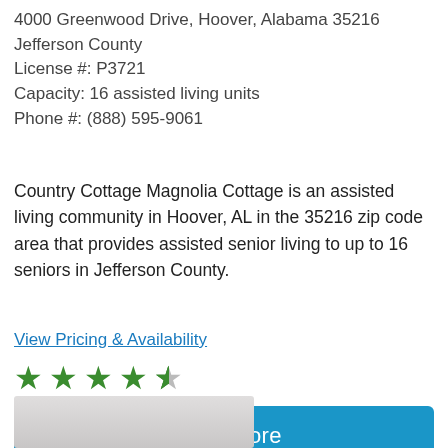4000 Greenwood Drive, Hoover, Alabama 35216
Jefferson County
License #: P3721
Capacity: 16 assisted living units
Phone #: (888) 595-9061
Country Cottage Magnolia Cottage is an assisted living community in Hoover, AL in the 35216 zip code area that provides assisted senior living to up to 16 seniors in Jefferson County.
View Pricing & Availability
[Figure (other): 4 full green stars and 1 half green/grey star rating]
Learn More
[Figure (photo): Partial view of a person at the bottom of the page]